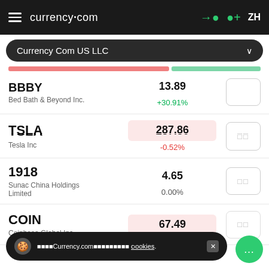currency.com — ZH
Currency Com US LLC
| Ticker | Company | Price | Change% |
| --- | --- | --- | --- |
| BBBY | Bed Bath & Beyond Inc. | 13.89 | +30.91% |
| TSLA | Tesla Inc | 287.86 | -0.52% |
| 1918 | Sunac China Holdings Limited | 4.65 | 0.00% |
| COIN | Coinbase Global Inc. | 67.49 |  |
currency.com cookies.